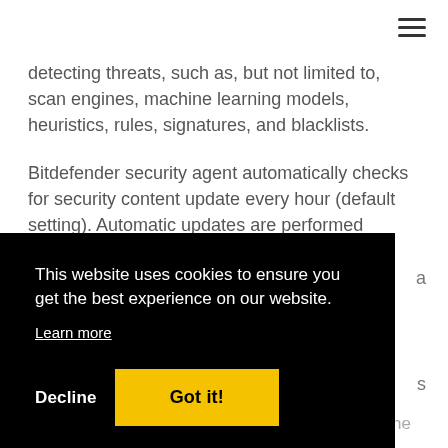detecting threats, such as, but not limited to, scan engines, machine learning models, heuristics, rules, signatures, and blacklists.
Bitdefender security agent automatically checks for security content update every hour (default setting). Automatic updates are performed silently in the background.
[Figure (screenshot): Cookie consent banner overlay with black background. Text reads: 'This website uses cookies to ensure you get the best experience on our website.' with a 'Learn more' link. Two buttons: 'Decline' (white text) and 'Got it!' (yellow button with black text).]
Add an update location either by choosing the